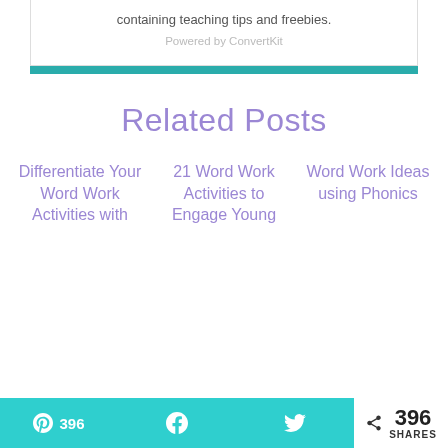containing teaching tips and freebies.
Powered by ConvertKit
Related Posts
Differentiate Your Word Work Activities with
21 Word Work Activities to Engage Young
Word Work Ideas using Phonics
396 SHARES